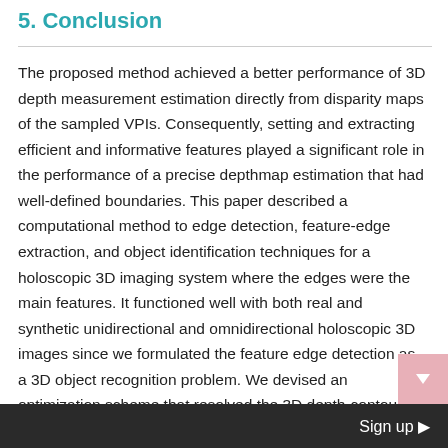5. Conclusion
The proposed method achieved a better performance of 3D depth measurement estimation directly from disparity maps of the sampled VPIs. Consequently, setting and extracting efficient and informative features played a significant role in the performance of a precise depthmap estimation that had well-defined boundaries. This paper described a computational method to edge detection, feature-edge extraction, and object identification techniques for a holoscopic 3D imaging system where the edges were the main features. It functioned well with both real and synthetic unidirectional and omnidirectional holoscopic 3D images since we formulated the feature edge detection as a 3D object recognition problem. We devised an optimization scheme that resolved the 3D depth-contour problem. The solution to this was by combining a
Sign up